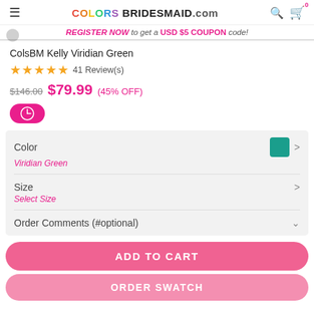COLORSBRIDESMAID.com
REGISTER NOW to get a USD $5 COUPON code!
ColsBM Kelly Viridian Green
★★★★★ 41 Review(s)
$146.00 $79.99 (45% OFF)
Color: Viridian Green
Size: Select Size
Order Comments (#optional)
ADD TO CART
ORDER SWATCH